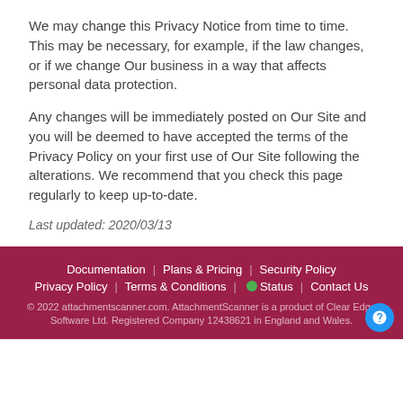We may change this Privacy Notice from time to time. This may be necessary, for example, if the law changes, or if we change Our business in a way that affects personal data protection.
Any changes will be immediately posted on Our Site and you will be deemed to have accepted the terms of the Privacy Policy on your first use of Our Site following the alterations. We recommend that you check this page regularly to keep up-to-date.
Last updated: 2020/03/13
Documentation   Plans & Pricing   Security Policy   Privacy Policy   Terms & Conditions   Status   Contact Us
© 2022 attachmentscanner.com. AttachmentScanner is a product of Clear Edge Software Ltd. Registered Company 12438621 in England and Wales.